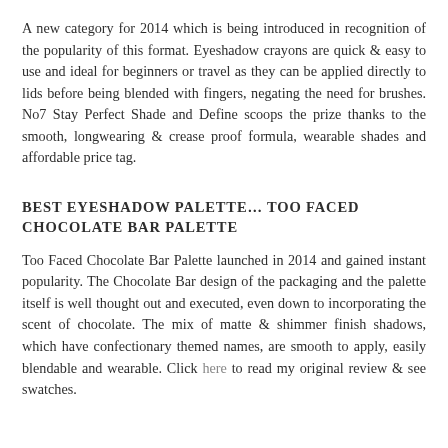A new category for 2014 which is being introduced in recognition of the popularity of this format. Eyeshadow crayons are quick & easy to use and ideal for beginners or travel as they can be applied directly to lids before being blended with fingers, negating the need for brushes. No7 Stay Perfect Shade and Define scoops the prize thanks to the smooth, longwearing & crease proof formula, wearable shades and affordable price tag.
BEST EYESHADOW PALETTE… TOO FACED CHOCOLATE BAR PALETTE
Too Faced Chocolate Bar Palette launched in 2014 and gained instant popularity. The Chocolate Bar design of the packaging and the palette itself is well thought out and executed, even down to incorporating the scent of chocolate. The mix of matte & shimmer finish shadows, which have confectionary themed names, are smooth to apply, easily blendable and wearable. Click here to read my original review & see swatches.